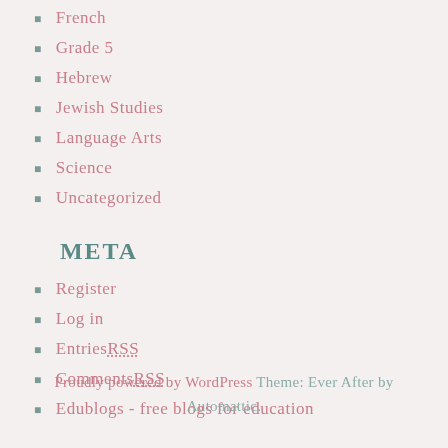French
Grade 5
Hebrew
Jewish Studies
Language Arts
Science
Uncategorized
META
Register
Log in
Entries RSS
Comments RSS
Edublogs - free blogs for education
Proudly powered by WordPress Theme: Ever After by Automattic.